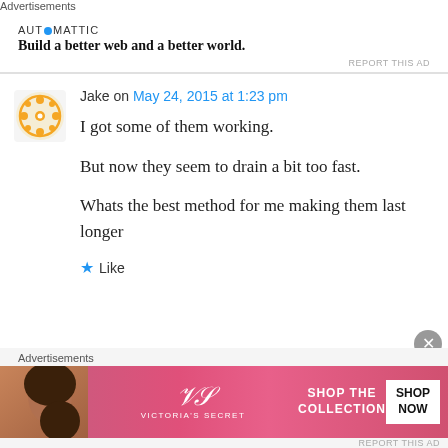Advertisements
[Figure (logo): Automattic logo with blue dot replacing letter O]
Build a better web and a better world.
REPORT THIS AD
Jake on May 24, 2015 at 1:23 pm
I got some of them working.
But now they seem to drain a bit too fast.
Whats the best method for me making them last longer
Like
Advertisements
[Figure (photo): Victoria's Secret advertisement banner with model, VS logo, SHOP THE COLLECTION text and SHOP NOW button]